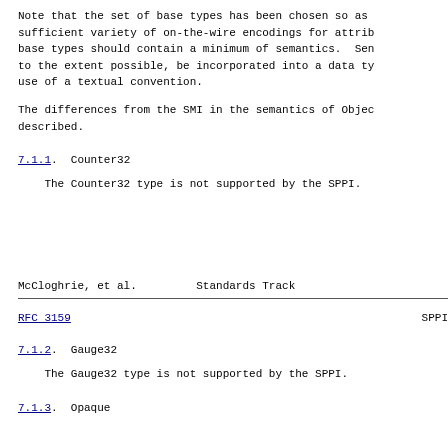Note that the set of base types has been chosen so as to provide a sufficient variety of on-the-wire encodings for attributes; the base types should contain a minimum of semantics.  Semantics should, to the extent possible, be incorporated into a data type through use of a textual convention.
The differences from the SMI in the semantics of ObjectType are described.
7.1.1.  Counter32
The Counter32 type is not supported by the SPPI.
McCloghrie, et al.          Standards Track
RFC 3159                                                          SPPI
7.1.2.  Gauge32
The Gauge32 type is not supported by the SPPI.
7.1.3.  Opaque